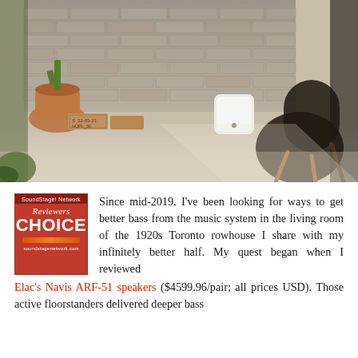[Figure (photo): Interior lifestyle photo showing a small white speaker/subwoofer on a concrete floor in a modern living room setting, with wooden crates, terracotta pots with cacti, a brick wall, and a dark leather chair in the background.]
Since mid-2019, I've been looking for ways to get better bass from the music system in the living room of the 1920s Toronto rowhouse I share with my infinitely better half. My quest began when I reviewed Elac's Navis ARF-51 speakers ($4599.96/pair; all prices USD). Those active floorstanders delivered deeper bass